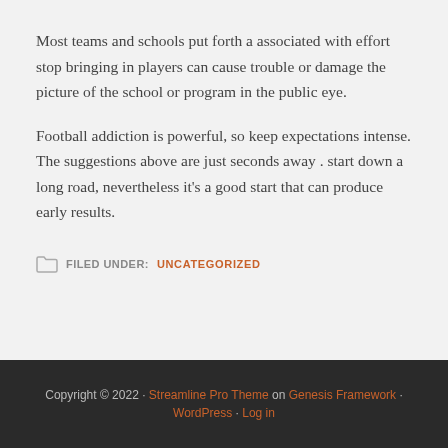Most teams and schools put forth a associated with effort stop bringing in players can cause trouble or damage the picture of the school or program in the public eye.
Football addiction is powerful, so keep expectations intense. The suggestions above are just seconds away . start down a long road, nevertheless it's a good start that can produce early results.
FILED UNDER: UNCATEGORIZED
Copyright © 2022 · Streamline Pro Theme on Genesis Framework · WordPress · Log in